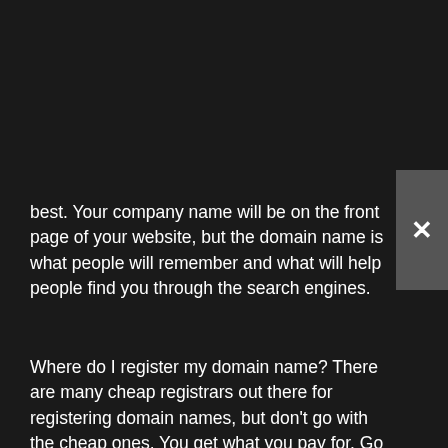best. Your company name will be on the front page of your website, but the domain name is what people will remember and what will help people find you through the search engines.
Where do I register my domain name? There are many cheap registrars out there for registering domain names, but don't go with the cheap ones. You get what you pay for. Go with the ones that provide you the most service. Do you really think saving $20 per YEAR on your domain name is going to make or break your business? If so, stop now, do not pass go, go back to your day job.
Now you have a domain name, now what? You will need hosting for the new website you are going to build or